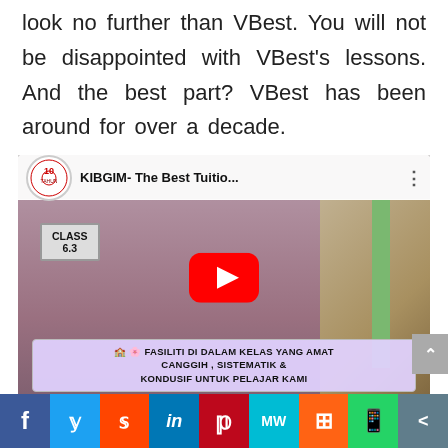look no further than VBest. You will not be disappointed with VBest's lessons. And the best part? VBest has been around for over a decade.
[Figure (screenshot): YouTube video thumbnail showing a woman in hijab in a classroom with 'CLASS 6.3' sign. Video title: 'KIBGIM- The Best Tuitio...' with a play button. Subtitle overlay in Malay: 'FASILITI DI DALAM KELAS YANG AMAT CANGGIH , SISTEMATIK & KONDUSIF UNTUK PELAJAR KAMI'. Social share bar at bottom with Facebook, Twitter, Reddit, LinkedIn, Pinterest, MeWe, Mix, WhatsApp, and more buttons.]